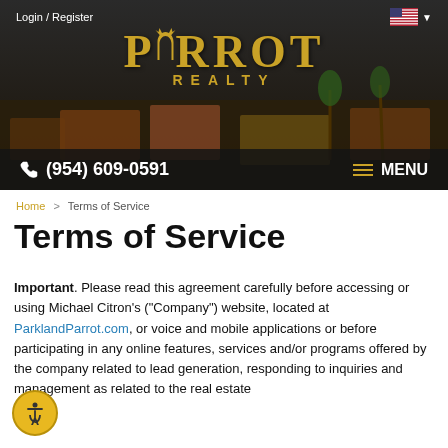Login / Register
[Figure (logo): Parrot Realty logo with golden stylized parrot bird and text PARROT REALTY on dark aerial neighborhood background]
(954) 609-0591    ≡ MENU
Home > Terms of Service
Terms of Service
Important. Please read this agreement carefully before accessing or using Michael Citron's ("Company") website, located at ParklandParrot.com, or voice and mobile applications or before participating in any online features, services and/or programs offered by the company related to lead generation, responding to inquiries and management as related to the real estate